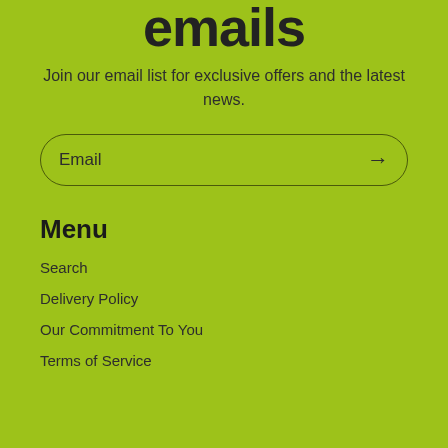emails
Join our email list for exclusive offers and the latest news.
Email
Menu
Search
Delivery Policy
Our Commitment To You
Terms of Service